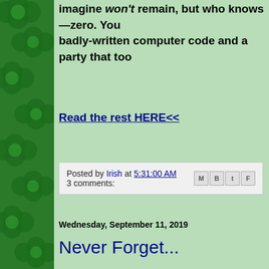imagine won't remain, but who knows—zero. You badly-written computer code and a party that too
Read the rest HERE<<
Posted by Irish at 5:31:00 AM   3 comments:
Wednesday, September 11, 2019
Never Forget...